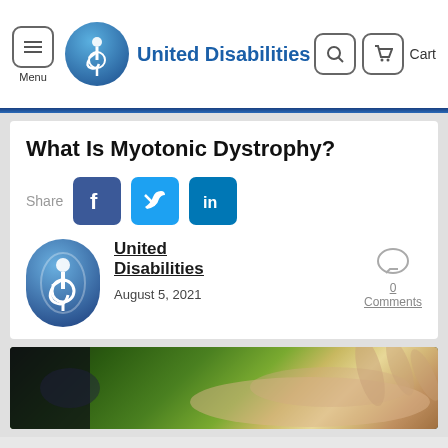Menu | United Disabilities | Cart
What Is Myotonic Dystrophy?
Share
[Figure (logo): United Disabilities author avatar with wheelchair accessibility icon]
United Disabilities
August 5, 2021
0 Comments
[Figure (photo): Photograph of an elderly person's outstretched hand against a green bokeh background]